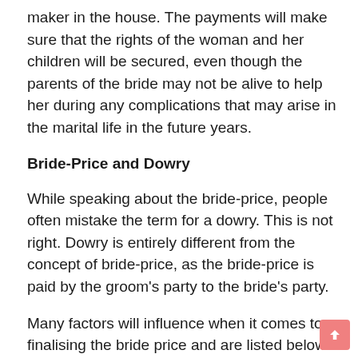maker in the house. The payments will make sure that the rights of the woman and her children will be secured, even though the parents of the bride may not be alive to help her during any complications that may arise in the marital life in the future years.
Bride-Price and Dowry
While speaking about the bride-price, people often mistake the term for a dowry. This is not right. Dowry is entirely different from the concept of bride-price, as the bride-price is paid by the groom’s party to the bride’s party.
Many factors will influence when it comes to finalising the bride price and are listed below.
Whether or not the bride is a virgin